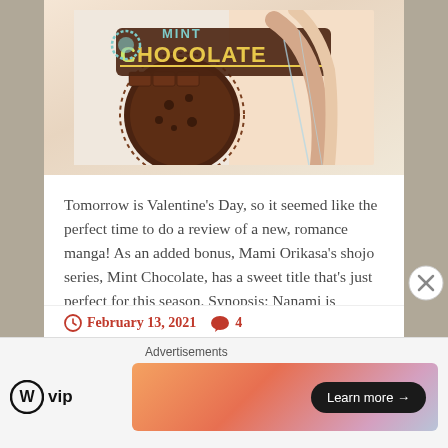[Figure (illustration): Manga book cover art showing 'Mint Chocolate' title text with a chocolate cookie graphic and anime-style character illustration in pink and brown tones]
Tomorrow is Valentine's Day, so it seemed like the perfect time to do a review of a new, romance manga! As an added bonus, Mami Orikasa's shojo series, Mint Chocolate, has a sweet title that's just perfect for this season. Synopsis: Nanami is nervous about meeting her new step-dad and step-brother after her mom remarries,....
Continue Reading →
February 13, 2021  4
[Figure (logo): WordPress VIP logo with circle W icon and 'vip' text]
[Figure (screenshot): Advertisement banner with gradient peach/coral/pink/blue background and 'Learn more →' button in black pill shape]